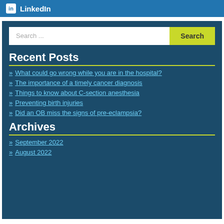LinkedIn
Search ...
Recent Posts
What could go wrong while you are in the hospital?
The importance of a timely cancer diagnosis
Things to know about C-section anesthesia
Preventing birth injuries
Did an OB miss the signs of pre-eclampsia?
Archives
September 2022
August 2022